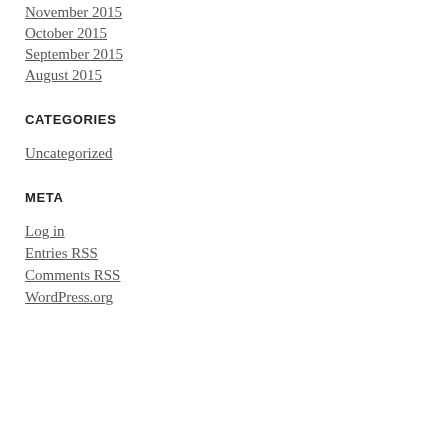November 2015
October 2015
September 2015
August 2015
CATEGORIES
Uncategorized
META
Log in
Entries RSS
Comments RSS
WordPress.org